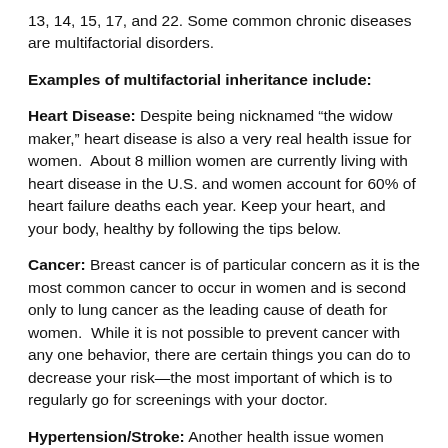13, 14, 15, 17, and 22. Some common chronic diseases are multifactorial disorders.
Examples of multifactorial inheritance include:
Heart Disease: Despite being nicknamed “the widow maker,” heart disease is also a very real health issue for women. About 8 million women are currently living with heart disease in the U.S. and women account for 60% of heart failure deaths each year. Keep your heart, and your body, healthy by following the tips below.
Cancer: Breast cancer is of particular concern as it is the most common cancer to occur in women and is second only to lung cancer as the leading cause of death for women. While it is not possible to prevent cancer with any one behavior, there are certain things you can do to decrease your risk—the most important of which is to regularly go for screenings with your doctor.
Hypertension/Stroke: Another health issue women should be wary of is stroke. Women account for approximately 61% of stroke deaths that occur each year. The most common